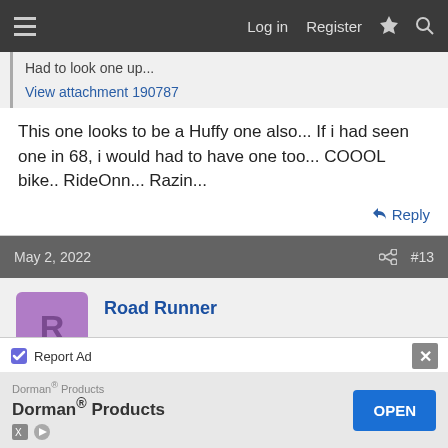≡  Log in  Register  ⚡  🔍
Had to look one up...
View attachment 190787
This one looks to be a Huffy one also... If i had seen one in 68, i would had to have one too... COOOL bike.. RideOnn... Razin...
↩ Reply
May 2, 2022   #13
Road Runner
Yes, they were cool. Never saw one like it back in the day.
Report Ad
[Figure (other): Dorman Products advertisement banner with OPEN button]